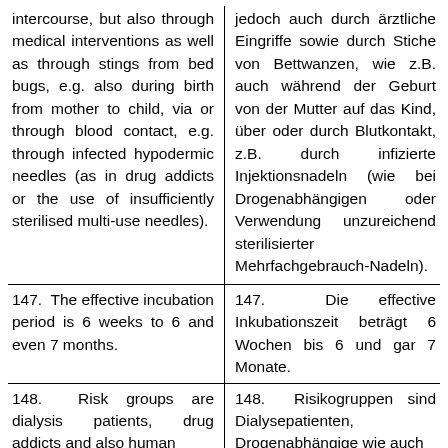intercourse, but also through medical interventions as well as through stings from bed bugs, e.g. also during birth from mother to child, via or through blood contact, e.g. through infected hypodermic needles (as in drug addicts or the use of insufficiently sterilised multi-use needles).
jedoch auch durch ärztliche Eingriffe sowie durch Stiche von Bettwanzen, wie z.B. auch während der Geburt von der Mutter auf das Kind, über oder durch Blutkontakt, z.B. durch infizierte Injektionsnadeln (wie bei Drogenabhängigen oder Verwendung unzureichend sterilisierter Mehrfachgebrauch-Nadeln).
147. The effective incubation period is 6 weeks to 6 and even 7 months.
147. Die effective Inkubationszeit beträgt 6 Wochen bis 6 und gar 7 Monate.
148. Risk groups are dialysis patients, drug addicts and also human
148. Risikogruppen sind Dialysepatienten, Drogenabhängige wie auch